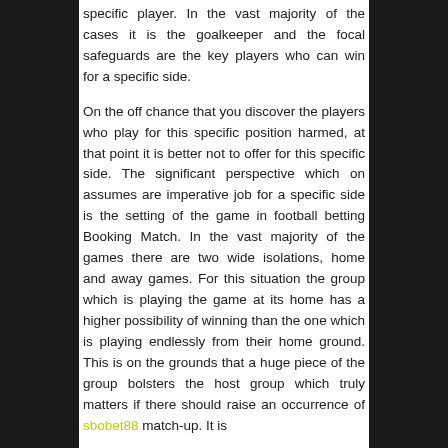specific player. In the vast majority of the cases it is the goalkeeper and the focal safeguards are the key players who can win for a specific side.
On the off chance that you discover the players who play for this specific position harmed, at that point it is better not to offer for this specific side. The significant perspective which on assumes are imperative job for a specific side is the setting of the game in football betting Booking Match. In the vast majority of the games there are two wide isolations, home and away games. For this situation the group which is playing the game at its home has a higher possibility of winning than the one which is playing endlessly from their home ground. This is on the grounds that a huge piece of the group bolsters the host group which truly matters if there should raise an occurrence of sbobet88 match-up. It is